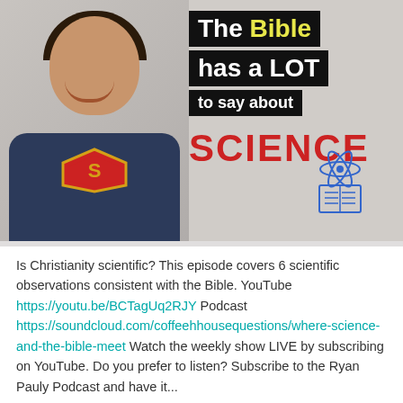[Figure (photo): Podcast thumbnail image showing a smiling man in a Superman t-shirt on the left, with bold text on a black background on the right reading 'The Bible has a LOT to say about SCIENCE' with the word 'Bible' in yellow, and a science/book icon illustration.]
Is Christianity scientific? This episode covers 6 scientific observations consistent with the Bible. YouTube https://youtu.be/BCTagUq2RJY Podcast https://soundcloud.com/coffeehhousequestions/where-science-and-the-bible-meet Watch the weekly show LIVE by subscribing on YouTube. Do you prefer to listen? Subscribe to the Ryan Pauly Podcast and have it...